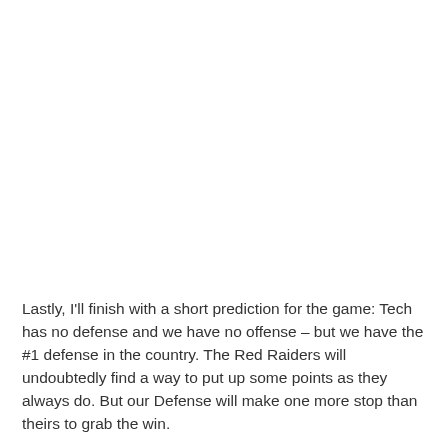Lastly, I'll finish with a short prediction for the game: Tech has no defense and we have no offense – but we have the #1 defense in the country. The Red Raiders will undoubtedly find a way to put up some points as they always do. But our Defense will make one more stop than theirs to grab the win.